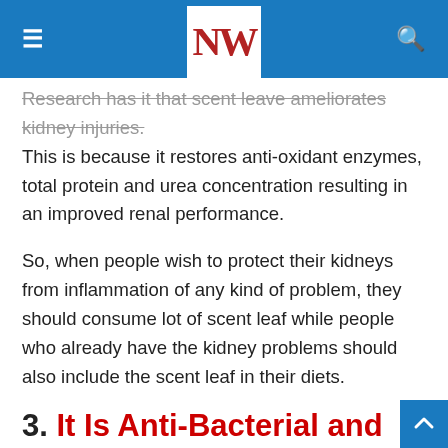NW (logo)
Research has it that scent leave ameliorates kidney injuries. This is because it restores anti-oxidant enzymes, total protein and urea concentration resulting in an improved renal performance.
So, when people wish to protect their kidneys from inflammation of any kind of problem, they should consume lot of scent leaf while people who already have the kidney problems should also include the scent leaf in their diets.
3. It Is Anti-Bacterial and Anti-Fungal
We all know that germs, fungi and bacteria are the most